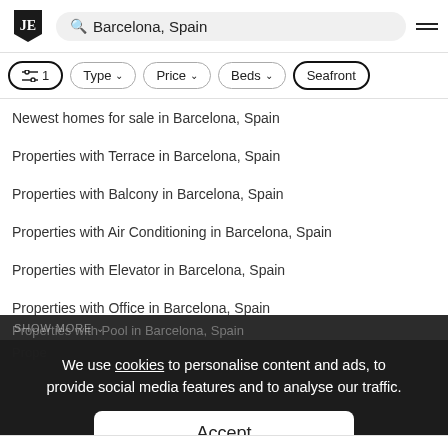JE | Barcelona, Spain
Newest homes for sale in Barcelona, Spain
Properties with Terrace in Barcelona, Spain
Properties with Balcony in Barcelona, Spain
Properties with Air Conditioning in Barcelona, Spain
Properties with Elevator in Barcelona, Spain
Properties with Office in Barcelona, Spain
Renovated properties in Barcelona, Spain
We use cookies to personalise content and ads, to provide social media features and to analyse our traffic.
Accept